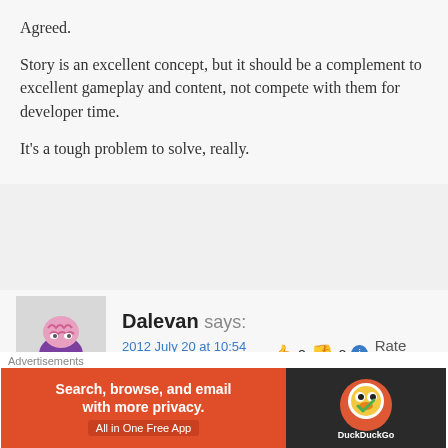Agreed.
Story is an excellent concept, but it should be a complement to excellent gameplay and content, not compete with them for developer time.
It's a tough problem to solve, really.
[Figure (illustration): Avatar image of a cartoon brain character sitting on robot legs, purple body with pink brain visible, gray background]
Dalevan says:
2012 July 20 at 10:54 am  👍 0 👎 0 ℹ Rate This
It was released too early and I believe it was pressure from EA. The game is a lot of fun now. If
Advertisements
[Figure (screenshot): DuckDuckGo advertisement banner: orange background with text 'Search, browse, and email with more privacy. All in One Free App' and DuckDuckGo logo on dark right panel]